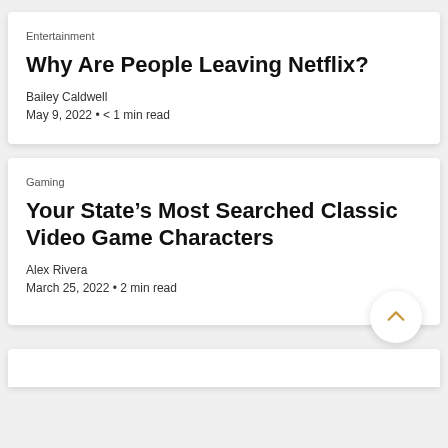Entertainment
Why Are People Leaving Netflix?
Bailey Caldwell
May 9, 2022 • < 1 min read
Gaming
Your State's Most Searched Classic Video Game Characters
Alex Rivera
March 25, 2022 • 2 min read